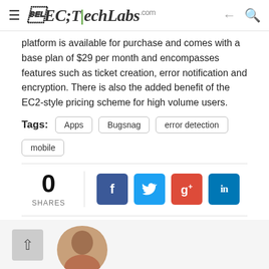TheTechLabs.com
platform is available for purchase and comes with a base plan of $29 per month and encompasses features such as ticket creation, error notification and encryption. There is also the added benefit of the EC2-style pricing scheme for high volume users.
Tags: Apps | Bugsnag | error detection | mobile
[Figure (infographic): Share count showing 0 SHARES with social media buttons: Facebook, Twitter, Google+, LinkedIn]
[Figure (photo): Author profile photo (circular headshot), partially visible]